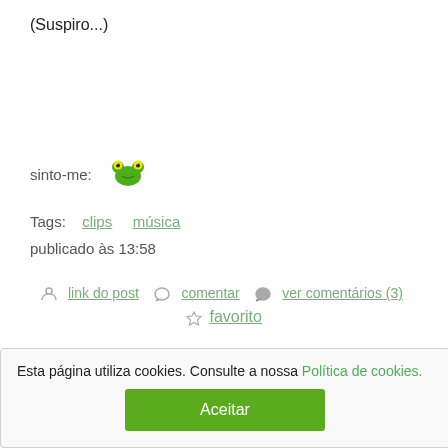(Suspiro...)
sinto-me: [frog emoji]
Tags: clips música
publicado às 13:58
link do post  comentar  ver comentários (3)  favorito
Esta página utiliza cookies. Consulte a nossa Política de cookies.
Aceitar